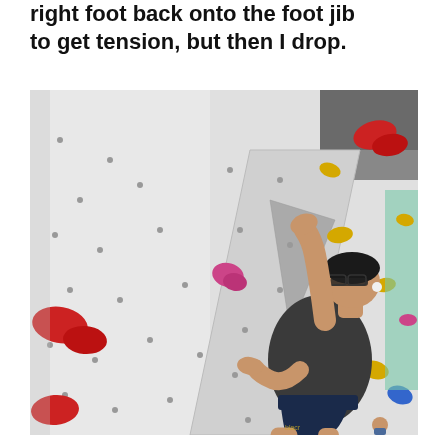right foot back onto the foot jib to get tension, but then I drop.
[Figure (photo): A person in a dark grey t-shirt and navy shorts wearing glasses and earbuds, climbing an indoor bouldering wall. The wall is white with colourful holds (red, yellow, pink, gold, blue). The climber is reaching up with their right arm and gripping a hold, body angled against the wall.]